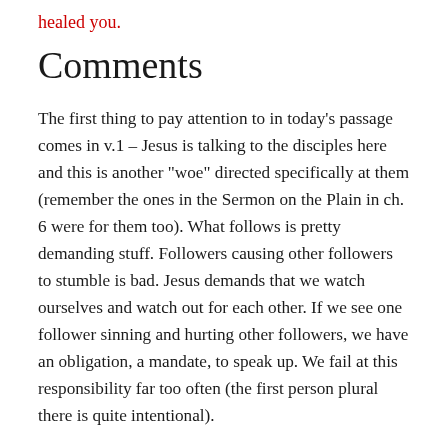healed you.
Comments
The first thing to pay attention to in today’s passage comes in v.1 – Jesus is talking to the disciples here and this is another “woe” directed specifically at them (remember the ones in the Sermon on the Plain in ch. 6 were for them too). What follows is pretty demanding stuff. Followers causing other followers to stumble is bad. Jesus demands that we watch ourselves and watch out for each other. If we see one follower sinning and hurting other followers, we have an obligation, a mandate, to speak up. We fail at this responsibility far too often (the first person plural there is quite intentional).
But we are also to be quick and continuous with our